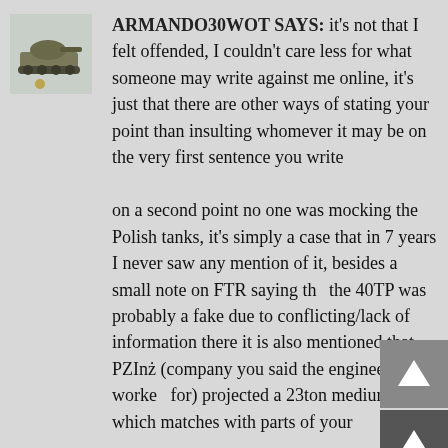[Figure (photo): Avatar thumbnail showing a military tank model with a small coin for scale]
ARMANDO30WOT SAYS: it's not that I felt offended, I couldn't care less for what someone may write against me online, it's just that there are other ways of stating your point than insulting whomever it may be on the very first sentence you write

on a second point no one was mocking the Polish tanks, it's simply a case that in 7 years I never saw any mention of it, besides a small note on FTR saying the the 40TP was probably a fake due to conflicting/lack of information there it is also mentioned that PZInż (company you said the engineer worked for) projected a 23ton medium tank, which matches with parts of your